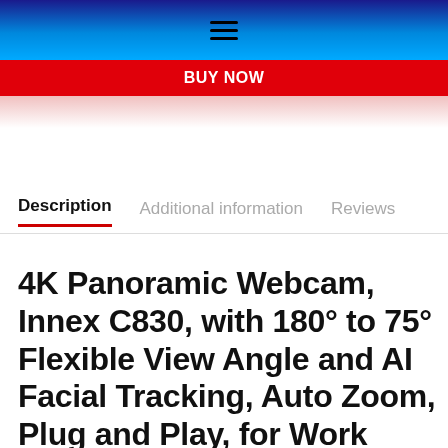☰ (hamburger menu icon)
BUY NOW
Description | Additional information | Reviews
4K Panoramic Webcam, Innex C830, with 180° to 75° Flexible View Angle and AI Facial Tracking, Auto Zoom, Plug and Play, for Work from Home,